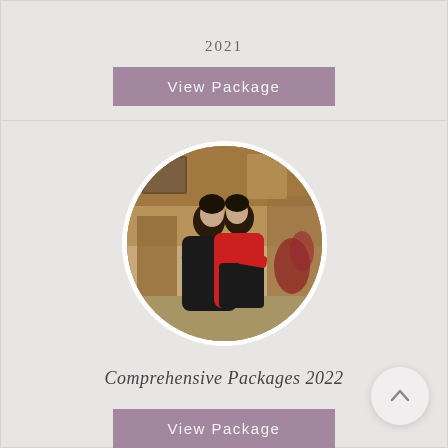2021
View Package
[Figure (photo): A couple in matching black and red outfits sharing a kiss, displayed in a circular frame with a white border, set against an ornate interior background.]
Comprehensive Packages 2022
View Package